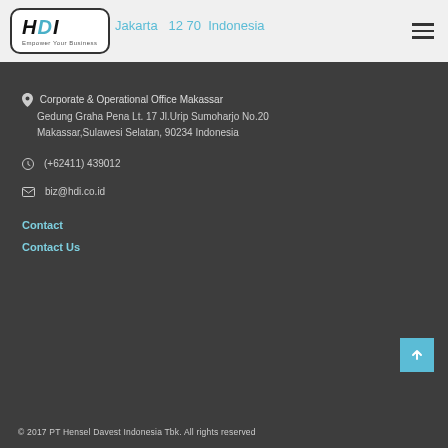HDI - Empower Your Business | Jakarta ... 12 70 Indonesia
Corporate & Operational Office Makassar
Gedung Graha Pena Lt. 17 Jl.Urip Sumoharjo No.20
Makassar,Sulawesi Selatan, 90234 Indonesia
(+62411) 439012
biz@hdi.co.id
Contact
Contact Us
© 2017 PT Hensel Davest Indonesia Tbk. All rights reserved